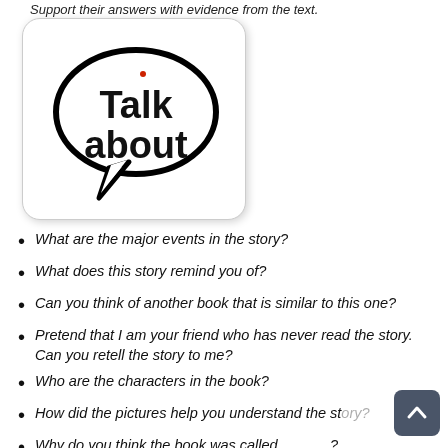Support their answers with evidence from the text.
[Figure (illustration): A speech bubble graphic with the text 'Talk about' inside it, within a rounded rectangle card with shadow.]
What are the major events in the story?
What does this story remind you of?
Can you think of another book that is similar to this one?
Pretend that I am your friend who has never read the story. Can you retell the story to me?
Who are the characters in the book?
How did the pictures help you understand the story?
Why do you think the book was called ______?
Did you enjoy the story? Why or why not?